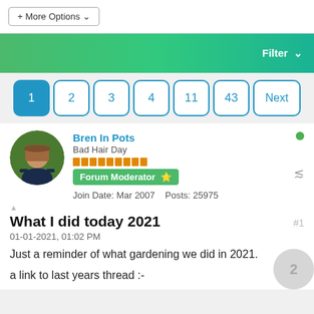+ More Options
[Figure (screenshot): Green filter bar with 'Filter' button and chevron]
1 2 3 4 11 43 Next (pagination)
[Figure (photo): Avatar of user Bren In Pots - person with pot on head]
Bren In Pots
Bad Hair Day
Forum Moderator ⭐
Join Date: Mar 2007   Posts: 25975
What I did today 2021
01-01-2021, 01:02 PM
Just a reminder of what gardening we did in 2021.
a link to last years thread :-